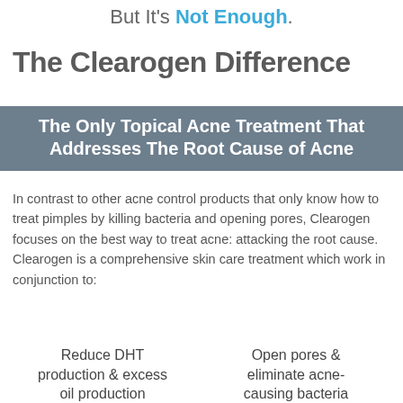But It's Not Enough.
The Clearogen Difference
The Only Topical Acne Treatment That Addresses The Root Cause of Acne
In contrast to other acne control products that only know how to treat pimples by killing bacteria and opening pores, Clearogen focuses on the best way to treat acne: attacking the root cause. Clearogen is a comprehensive skin care treatment which work in conjunction to:
Reduce DHT production & excess oil production
Open pores & eliminate acne-causing bacteria